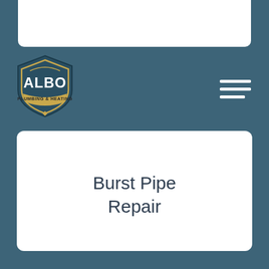[Figure (logo): ALBO Plumbing & Heating logo — shield shape with 'ALBO' text in large letters and 'PLUMBING & HEATING' banner below]
Burst Pipe Repair